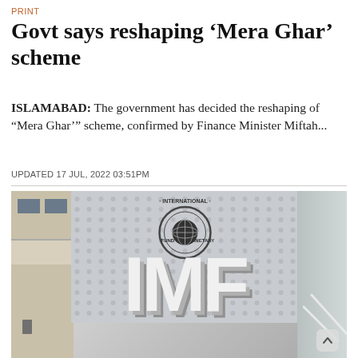PRINT
Govt says reshaping ‘Mera Ghar’ scheme
ISLAMABAD: The government has decided the reshaping of “Mera Ghar’ scheme, confirmed by Finance Minister Miftah...
UPDATED 17 JUL, 2022 03:51PM
[Figure (photo): Photograph of the IMF (International Monetary Fund) headquarters entrance showing large 3D white IMF letters in front of a dotted gray backdrop with the IMF circular logo, flanked by multi-storey buildings]